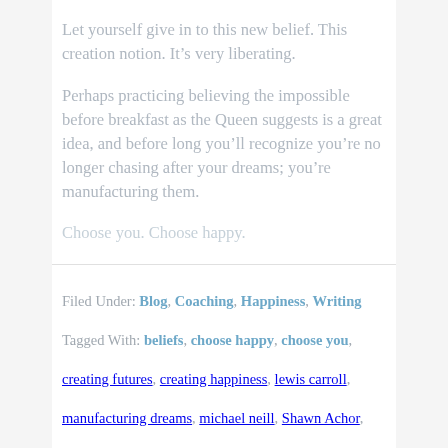Let yourself give in to this new belief. This creation notion. It’s very liberating.
Perhaps practicing believing the impossible before breakfast as the Queen suggests is a great idea, and before long you’ll recognize you’re no longer chasing after your dreams; you’re manufacturing them.
Choose you. Choose happy.
Filed Under: Blog, Coaching, Happiness, Writing
Tagged With: beliefs, choose happy, choose you, creating futures, creating happiness, lewis carroll, manufacturing dreams, michael neill, Shawn Achor,